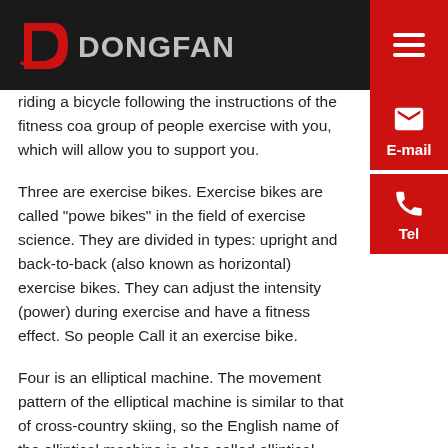[Figure (logo): Dongfang logo with red D emblem and dark metallic text on black header bar]
riding a bicycle following the instructions of the fitness coach, a group of people exercise with you, which will allow you to support you.
Three are exercise bikes. Exercise bikes are called "power bikes" in the field of exercise science. They are divided into types: upright and back-to-back (also known as horizontal) exercise bikes. They can adjust the intensity (power) during exercise and have a fitness effect. So people Call it an exercise bike.
Four is an elliptical machine. The movement pattern of the elliptical machine is similar to that of cross-country skiing, so the English name of the elliptical machine is also called elliptical cross-trainer. The elliptical machine has been loved by the public once it was launched. It is suitable for all ages, just like a space